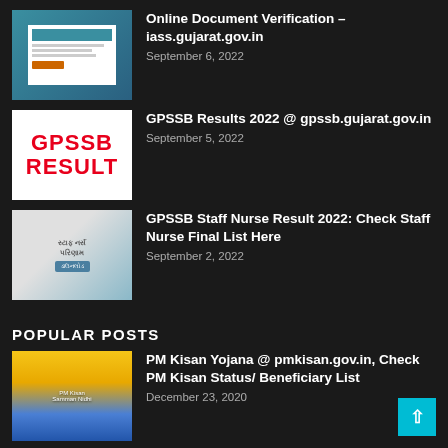[Figure (screenshot): Thumbnail showing document verification webpage screenshot]
Online Document Verification – iass.gujarat.gov.in
September 6, 2022
[Figure (illustration): GPSSB RESULT text in red on white background]
GPSSB Results 2022 @ gpssb.gujarat.gov.in
September 5, 2022
[Figure (photo): Nurse with stethoscope and Gujarati text overlay about staff nurse exam]
GPSSB Staff Nurse Result 2022: Check Staff Nurse Final List Here
September 2, 2022
POPULAR POSTS
[Figure (photo): PM Kisan Yojana thumbnail with yellow and blue background]
PM Kisan Yojana @ pmkisan.gov.in, Check PM Kisan Status/ Beneficiary List
December 23, 2020
[Figure (illustration): Ekam Kasoti Paper Solution 2021 PDF thumbnail]
Ekam Kasoti Paper Solution 2021 PDF | Unit...